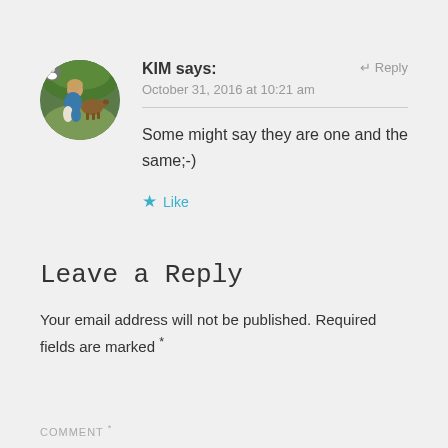[Figure (photo): Circular avatar photo of a woman crouching outdoors with a dog, green background]
KIM says:
↵ Reply
October 31, 2016 at 10:21 am
Some might say they are one and the same;-)
★ Like
Leave a Reply
Your email address will not be published. Required fields are marked *
COMMENT *